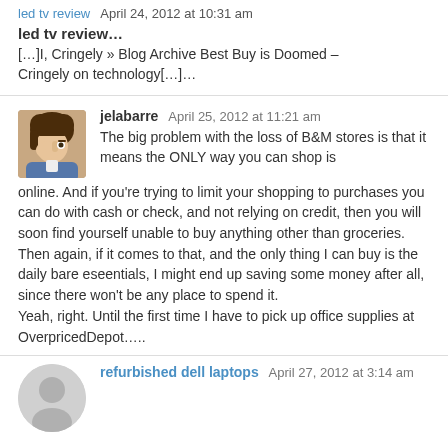led tv review   April 24, 2012 at 10:31 am
led tv review…
[…]I, Cringely » Blog Archive Best Buy is Doomed – Cringely on technology[…]…
jelabarre   April 25, 2012 at 11:21 am
The big problem with the loss of B&M stores is that it means the ONLY way you can shop is online. And if you're trying to limit your shopping to purchases you can do with cash or check, and not relying on credit, then you will soon find yourself unable to buy anything other than groceries. Then again, if it comes to that, and the only thing I can buy is the daily bare eseentials, I might end up saving some money after all, since there won't be any place to spend it.
Yeah, right. Until the first time I have to pick up office supplies at OverpricedDepot…..
refurbished dell laptops   April 27, 2012 at 3:14 am